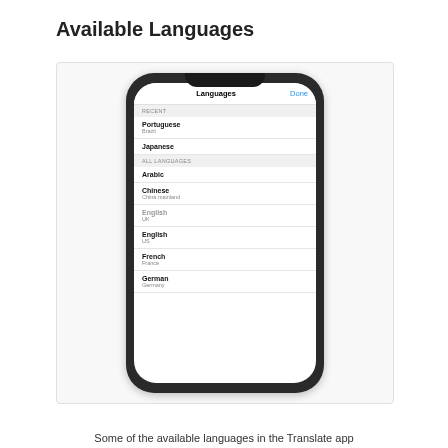Available Languages
[Figure (screenshot): A smartphone screenshot showing the Languages selection screen in the Translate app. It shows a RECENT section with Portuguese (Brazil) and Japanese, then an ALL LANGUAGES section listing Arabic, Chinese (China mainland), English (UK), English (US), French (France), German (Germany).]
Some of the available languages in the Translate app